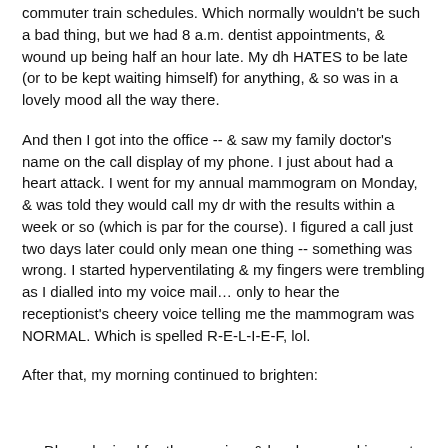commuter train schedules. Which normally wouldn't be such a bad thing, but we had 8 a.m. dentist appointments, & wound up being half an hour late. My dh HATES to be late (or to be kept waiting himself) for anything, & so was in a lovely mood all the way there.
And then I got into the office -- & saw my family doctor's name on the call display of my phone. I just about had a heart attack. I went for my annual mammogram on Monday, & was told they would call my dr with the results within a week or so (which is par for the course). I figured a call just two days later could only mean one thing -- something was wrong. I started hyperventilating & my fingers were trembling as I dialled into my voice mail… only to hear the receptionist's cheery voice telling me the mammogram was NORMAL. Which is spelled R-E-L-I-E-F, lol.
After that, my morning continued to brighten:
Dh apologized for the morning, & has been sucking up to me ever since. : )